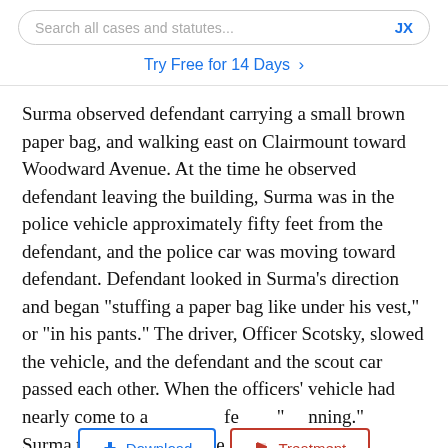Search all cases and statutes...  JX
Try Free for 14 Days >
Surma observed defendant carrying a small brown paper bag, and walking east on Clairmount toward Woodward Avenue. At the time he observed defendant leaving the building, Surma was in the police vehicle approximately fifty feet from the defendant, and the police car was moving toward defendant. Defendant looked in Surma’s direction and began “stuffing a paper bag like under his vest,” or “in his pants.” The driver, Officer Scotsky, slowed the vehicle, and the defendant and the scout car passed each other. When the officers’ vehicle had nearly come to a [stop, defendant fe]ll [off] running.” Surma tes[tified and s]tated [...] ke a better look at what he was doing. As we were coming to
[Figure (screenshot): Two UI overlay buttons: 'Download' (blue border, blue text with download icon) and 'Treatment' (red border, red text with flag icon), overlaid on the legal text.]